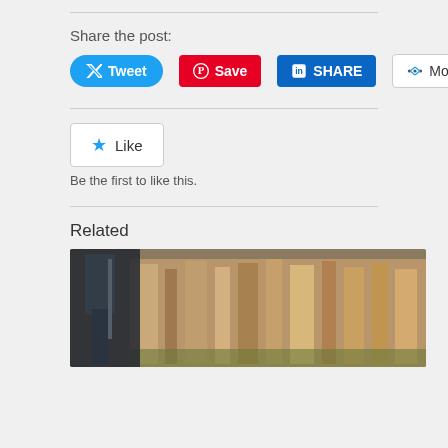Share the post:
[Figure (screenshot): Social sharing buttons: Tweet (Twitter/blue), Save (Pinterest/red), SHARE (LinkedIn/dark blue), More (grey outlined)]
[Figure (other): Like button with star icon]
Be the first to like this.
Related
[Figure (photo): Photo of a rocky cliff face with sparse vegetation and machinery/equipment on the left side]